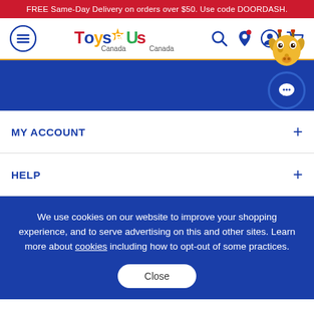FREE Same-Day Delivery on orders over $50. Use code DOORDASH.
[Figure (logo): Toys R Us Canada logo with hamburger menu icon and navigation icons (search, location, account, cart)]
[Figure (illustration): Blue navigation bar with giraffe mascot and chat bubble button on the right side]
MY ACCOUNT
HELP
We use cookies on our website to improve your shopping experience, and to serve advertising on this and other sites. Learn more about cookies including how to opt-out of some practices.
Close